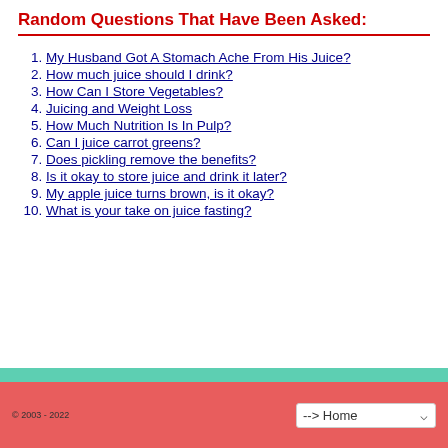Random Questions That Have Been Asked:
My Husband Got A Stomach Ache From His Juice?
How much juice should I drink?
How Can I Store Vegetables?
Juicing and Weight Loss
How Much Nutrition Is In Pulp?
Can I juice carrot greens?
Does pickling remove the benefits?
Is it okay to store juice and drink it later?
My apple juice turns brown, is it okay?
What is your take on juice fasting?
© 2003 - 2022